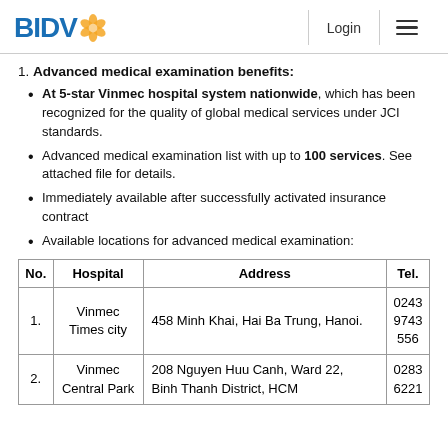BIDV | Login | Menu
1. Advanced medical examination benefits:
At 5-star Vinmec hospital system nationwide, which has been recognized for the quality of global medical services under JCI standards.
Advanced medical examination list with up to 100 services. See attached file for details.
Immediately available after successfully activated insurance contract
Available locations for advanced medical examination:
| No. | Hospital | Address | Tel. |
| --- | --- | --- | --- |
| 1. | Vinmec Times city | 458 Minh Khai, Hai Ba Trung, Hanoi. | 0243 9743 556 |
| 2. | Vinmec Central Park | 208 Nguyen Huu Canh, Ward 22, Binh Thanh District, HCM | 0283 6221 |